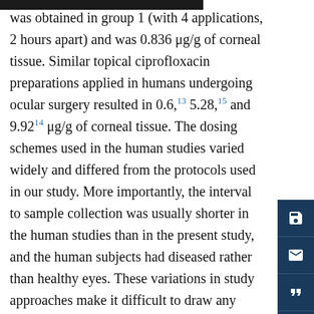was obtained in group 1 (with 4 applications, 2 hours apart) and was 0.836 μg/g of corneal tissue. Similar topical ciprofloxacin preparations applied in humans undergoing ocular surgery resulted in 0.6,¹³ 5.28,¹⁵ and 9.92¹⁴ μg/g of corneal tissue. The dosing schemes used in the human studies varied widely and differed from the protocols used in our study. More importantly, the interval to sample collection was usually shorter in the human studies than in the present study, and the human subjects had diseased rather than healthy eyes. These variations in study approaches make it difficult to draw any meaningful conclusions regarding interspecies comparisons; however, anatomic differences between the 2 species may also play a role in the apparent species differences.